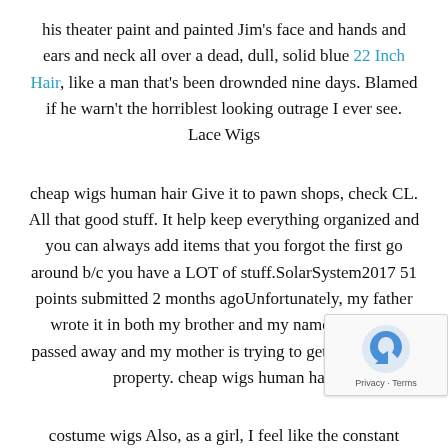his theater paint and painted Jim's face and hands and ears and neck all over a dead, dull, solid blue 22 Inch Hair, like a man that's been drownded nine days. Blamed if he warn't the horriblest looking outrage I ever see. Lace Wigs
cheap wigs human hair Give it to pawn shops, check CL. All that good stuff. It help keep everything organized and you can always add items that you forgot the first go around b/c you have a LOT of stuff.SolarSystem2017 51 points submitted 2 months agoUnfortunately, my father wrote it in both my brother and my name before he passed away and my mother is trying to get a hold of the property. cheap wigs human hair
costume wigs Also, as a girl, I feel like the constant talking about and crushes and weddings really hurt my self esteem. It was feminism never happened. Like, those were the only topics I was